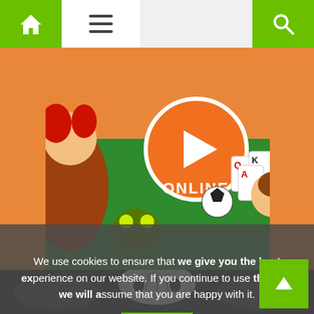[Figure (screenshot): Website navigation bar with green home icon button on left, hamburger menu icon, grey spacer, and green search icon on right]
[Figure (illustration): Colorful gaming website banner with anime-style characters, a play button with ONLINE text, playing cards, soccer ball, and cartoon characters on green background]
[Figure (illustration): Dark stylized illustration of a white tiger or creature face with intense eyes, surrounded by mechanical/decorative elements on dark background]
We use cookies to ensure that we give you the best experience on our website. If you continue to use this site we will assume that you are happy with it.
Ok